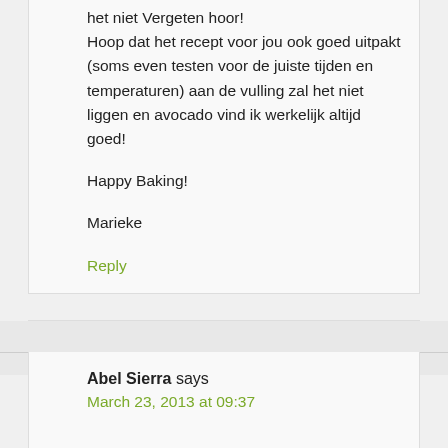het niet vergeten hoor!
Hoop dat het recept voor jou ook goed uitpakt (soms even testen voor de juiste tijden en temperaturen) aan de vulling zal het niet liggen en avocado vind ik werkelijk altijd goed!

Happy Baking!

Marieke
Reply
Abel Sierra says
March 23, 2013 at 09:37